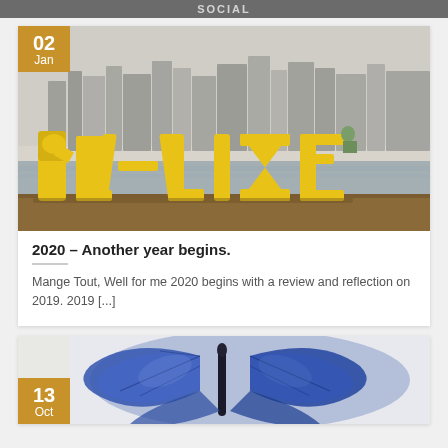SOCIAL
[Figure (photo): Large yellow 3D letters spelling 'Realize' on a waterfront, city skyline in background. Date badge '02 Jan' in top-left corner.]
2020 – Another year begins.
Mange Tout, Well for me 2020 begins with a review and reflection on 2019. 2019 [...]
[Figure (photo): Close-up of blue butterfly wings. Date badge '13 Oct' in bottom-left area.]